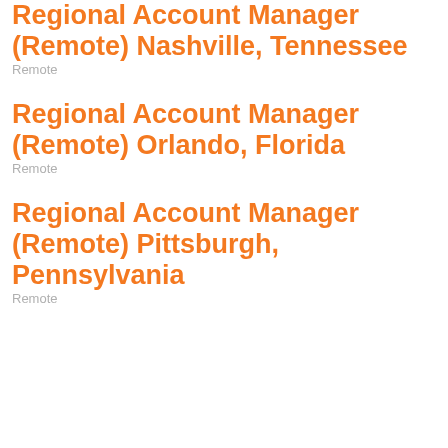Regional Account Manager (Remote) Nashville, Tennessee
Remote
Regional Account Manager (Remote) Orlando, Florida
Remote
Regional Account Manager (Remote) Pittsburgh, Pennsylvania
Remote